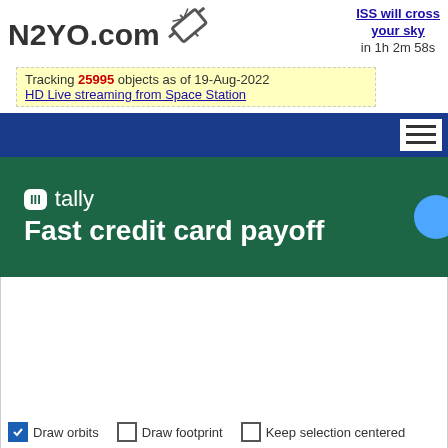N2YO.com
ISS will cross your sky in 1h 2m 58s
Tracking 25995 objects as of 19-Aug-2022
HD Live streaming from Space Station
[Figure (screenshot): Dark blue navigation bar with hamburger menu icon on the right]
[Figure (infographic): Tally app advertisement banner with dark green background, Tally logo, and text 'Fast credit card payoff']
[Figure (map): White/empty satellite tracking map area]
Draw orbits    Draw footprint    Keep selection centered